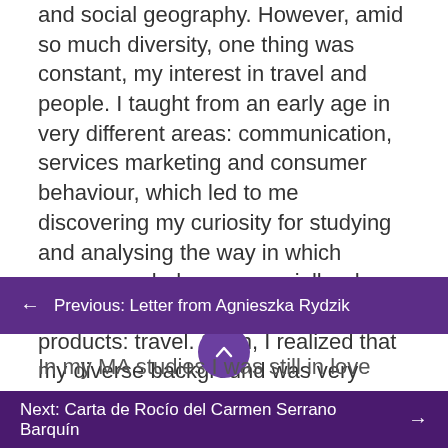and social geography. However, amid so much diversity, one thing was constant, my interest in travel and people. I taught from an early age in very different areas: communication, services marketing and consumer behaviour, which led to me discovering my curiosity for studying and analysing the way in which consumers behave, especially when they buy one of the most desirable products: travel. Soon, I realized that my diverse background was very useful to study a such a complex phenomenon: travel for leisure.
In my MA studies I was still in love with the
← Previous: Letter from Agnieszka Rydzik
Next: Carta de Rocío del Carmen Serrano Barquín →